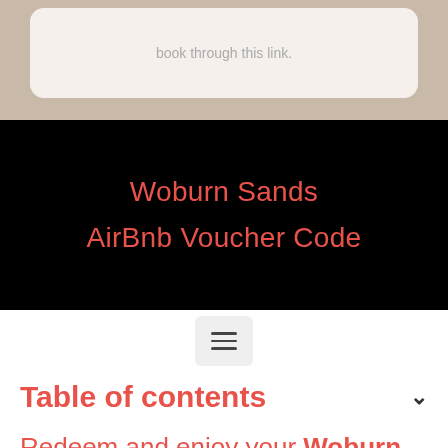[Figure (photo): Top portion showing a screenshot overlay on a wooden background with a rounded white card containing light gray text 'book through this link.']
Woburn Sands
AirBnb Voucher Code
[Figure (other): Hamburger menu button icon with three horizontal lines on a light gray rounded rectangle background]
Table of contents
Redeem and enjoy your Woburn